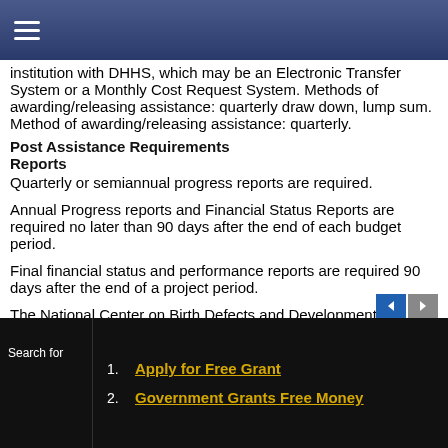Navigation header bar
institution with DHHS, which may be an Electronic Transfer System or a Monthly Cost Request System. Methods of awarding/releasing assistance: quarterly draw down, lump sum. Method of awarding/releasing assistance: quarterly.
Post Assistance Requirements
Reports
Quarterly or semiannual progress reports are required.
Annual Progress reports and Financial Status Reports are required no later than 90 days after the end of each budget period.
Final financial status and performance reports are required 90 days after the end of a project period.
The National Center on Birth Defects and Developmental Disabilities may propose on-site meetings, off-site or other processes for the exchange of information on progress toward objectives of collaborative activities.
A plan of proposed activities is required annually.
Search for
1. Apply for Free Grant
2. Government Grants Free Money